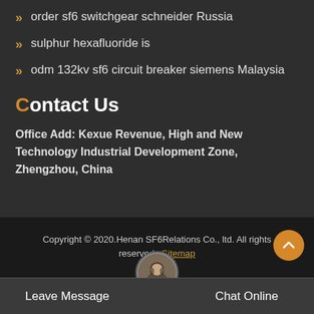order sf6 switchgear schneider Russia
sulphur hexafluoride is
odm 132kv sf6 circuit breaker siemens Malaysia
Contact Us
Office Add: Kexue Revenue, High and New Technology Industrial Development Zone, Zhengzhou, China
Copyright © 2020.Henan SF6Relations Co., ltd. All rights reserved. Sitemap